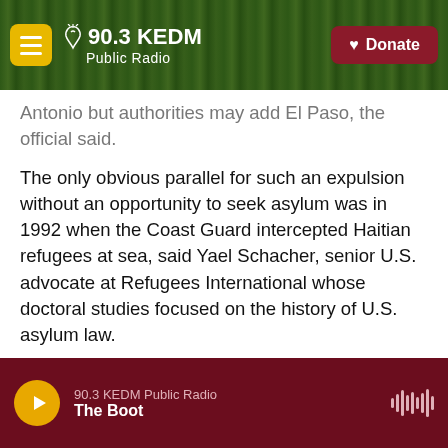90.3 KEDM Public Radio — Donate
Antonio but authorities may add El Paso, the official said.
The only obvious parallel for such an expulsion without an opportunity to seek asylum was in 1992 when the Coast Guard intercepted Haitian refugees at sea, said Yael Schacher, senior U.S. advocate at Refugees International whose doctoral studies focused on the history of U.S. asylum law.
Similarly large numbers of Mexicans have been sent home during peak years of immigration but over land and not so suddenly.
90.3 KEDM Public Radio — The Boot